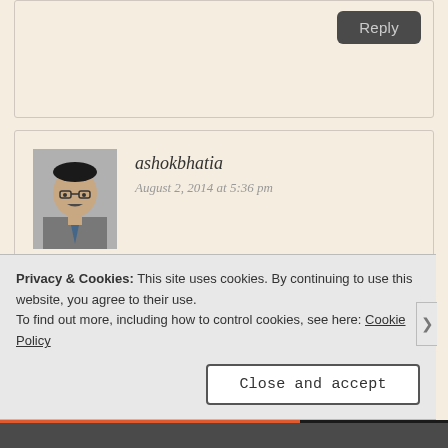Reply
ashokbhatia
August 2, 2014 at 5:36 pm
Great insights here!
Like
Reply
Privacy & Cookies: This site uses cookies. By continuing to use this website, you agree to their use.
To find out more, including how to control cookies, see here: Cookie Policy
Close and accept